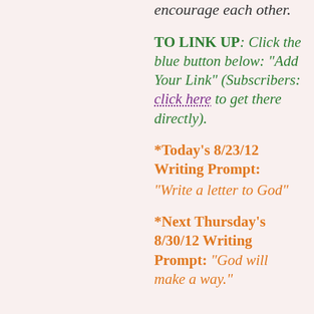encourage each other.
TO LINK UP: Click the blue button below: “Add Your Link” (Subscribers: click here to get there directly).
*Today’s 8/23/12 Writing Prompt: “Write a letter to God”
*Next Thursday’s 8/30/12 Writing Prompt: “God will make a way.”